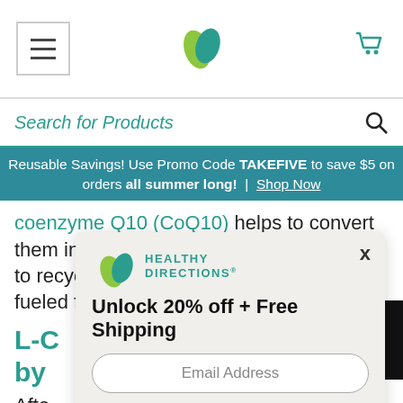Navigation header with hamburger menu, Healthy Directions logo, and cart icon
Search for Products
Reusable Savings! Use Promo Code TAKEFIVE to save $5 on orders all summer long! | Shop Now
coenzyme Q10 (CoQ10) helps to convert them into energy. Plus, L-Carnitine helps to recycle CoQ10, so your cells stay fueled for energy.
L-C... by...
Afte... ks up... pro... cell... fatt... ing
[Figure (screenshot): Modal popup with Healthy Directions logo, headline 'Unlock 20% off + Free Shipping', email address input, and Continue button]